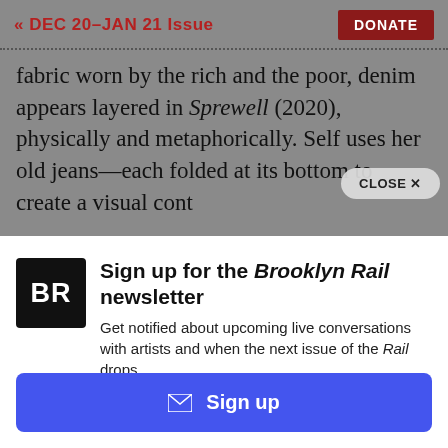« DEC 20-JAN 21 Issue
fabric worn by the rich and the poor, denim appears layered in Sprewell (2020), physically and metaphorically. Self uses her old jeans—each folded at its bottom to create a visual contrast
[Figure (logo): BR Brooklyn Rail logo — black square with white 'BR' letters]
Sign up for the Brooklyn Rail newsletter
Get notified about upcoming live conversations with artists and when the next issue of the Rail drops.
Sign up